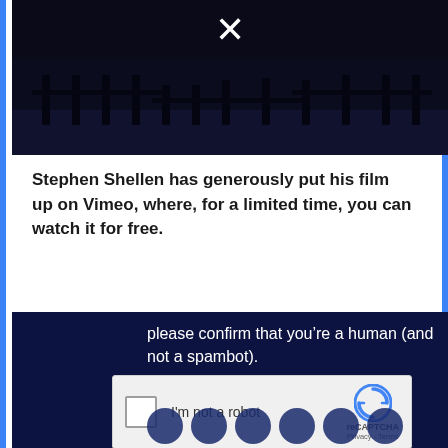[Figure (screenshot): Dark video thumbnail with an X close button, showing a dark nighttime outdoor scene]
Stephen Shellen has generously put his film up on Vimeo, where, for a limited time, you can watch it for free.
[Figure (screenshot): Dark navy panel with reCAPTCHA widget. Text reads: please confirm that you’re a human (and not a spambot). Below is a reCAPTCHA checkbox with label I'm not a robot and reCAPTCHA logo with Privacy - Terms links.]